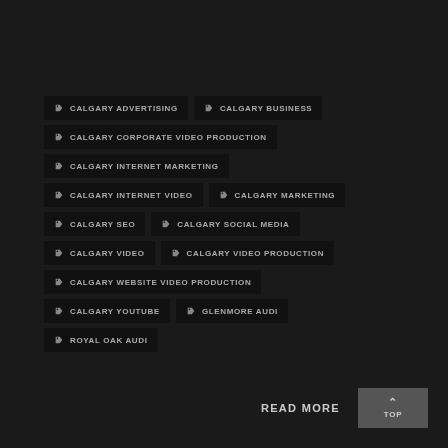CALGARY ADVERTISING
CALGARY BUSINESS
CALGARY CORPORATE VIDEO PRODUCTION
CALGARY INTERNET MARKETING
CALGARY INTERNET VIDEO
CALGARY MARKETING
CALGARY SEO
CALGARY SOCIAL MEDIA
CALGARY VIDEO
CALGARY VIDEO PRODUCTION
CALGARY WEBSITE VIDEO PRODUCTION
CALGARY YOUTUBE
GLENMORE AUDI
ROYAL OAK AUDI
READ MORE
TOP